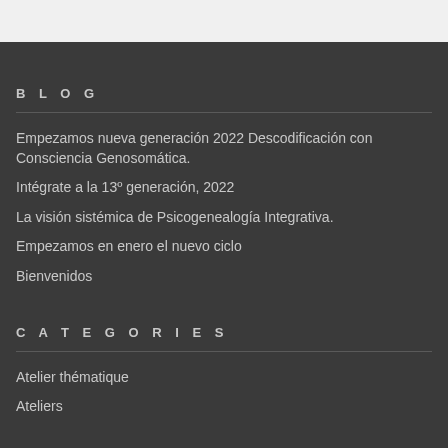BLOG
Empezamos nueva generación 2022 Descodificación con Consciencia Genosomática.
Intégrate a la 13º generación, 2022
La visión sistémica de Psicogenealogía Integrativa.
Empezamos en enero el nuevo ciclo
Bienvenidos
CATEGORIES
Atelier thématique
Ateliers